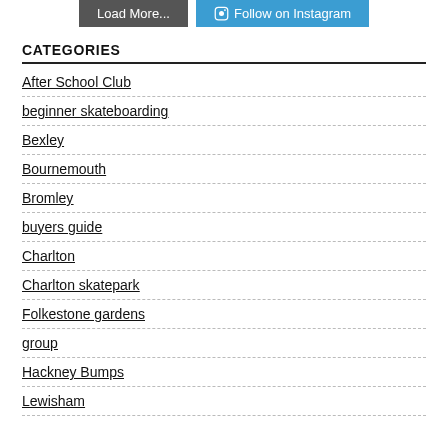[Figure (screenshot): Two buttons at top: 'Load More...' (dark grey) and 'Follow on Instagram' (blue with Instagram icon)]
CATEGORIES
After School Club
beginner skateboarding
Bexley
Bournemouth
Bromley
buyers guide
Charlton
Charlton skatepark
Folkestone gardens
group
Hackney Bumps
Lewisham